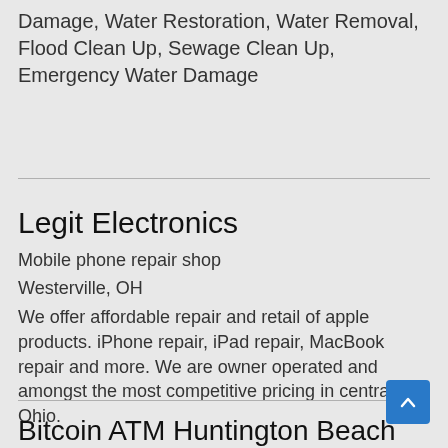Damage, Water Restoration, Water Removal, Flood Clean Up, Sewage Clean Up, Emergency Water Damage
Legit Electronics
Mobile phone repair shop
Westerville, OH
We offer affordable repair and retail of apple products. iPhone repair, iPad repair, MacBook repair and more. We are owner operated and amongst the most competitive pricing in central Ohio.
Bitcoin ATM Huntington Beach